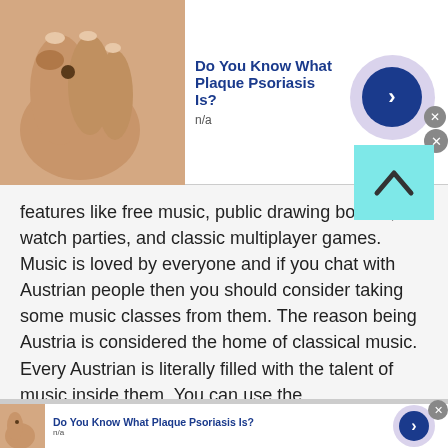[Figure (screenshot): Advertisement banner: skin photo on left, 'Do You Know What Plaque Psoriasis Is?' title in blue bold, 'n/a' subtitle, blue circular arrow button on right with purple halo, gray X close button]
features like free music, public drawing boards, watch parties, and classic multiplayer games. Music is loved by everyone and if you chat with Austrian people then you should consider taking some music classes from them. The reason being Austria is considered the home of classical music. Every Austrian is literally filled with the talent of music inside them. You can use the talkwithstranger's platform to take music classes online.
[Figure (screenshot): Advertisement banner (bottom, partial): skin photo on left, 'Do You Know What Plaque Psoriasis Is?' title in blue bold, 'n/a' subtitle, blue circular arrow button on right with purple halo, gray X close button]